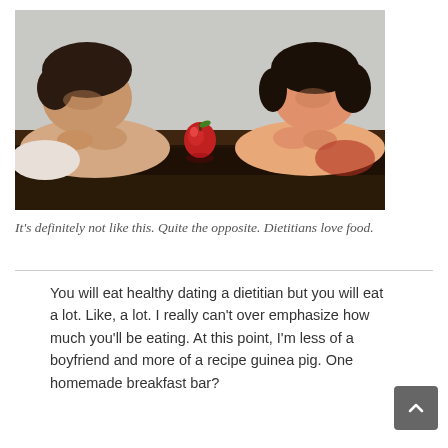[Figure (photo): Two people (a man on the left and a woman on the right) lying chin-down on a dark table, facing each other with a single red apple sitting between them in the center of the table. White/grey background.]
It's definitely not like this. Quite the opposite. Dietitians love food.
You will eat healthy dating a dietitian but you will eat a lot. Like, a lot. I really can't over emphasize how much you'll be eating. At this point, I'm less of a boyfriend and more of a recipe guinea pig. One homemade breakfast bar?